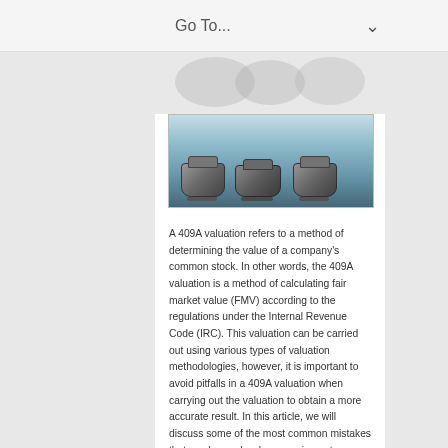Go To...
[Figure (photo): Photo of mechanical bear traps or snap traps arranged on a blue surface, representing pitfalls in 409A valuation]
A 409A valuation refers to a method of determining the value of a company's common stock. In other words, the 409A valuation is a method of calculating fair market value (FMV) according to the regulations under the Internal Revenue Code (IRC). This valuation can be carried out using various types of valuation methodologies, however, it is important to avoid pitfalls in a 409A valuation when carrying out the valuation to obtain a more accurate result. In this article, we will discuss some of the most common mistakes that can be made when carrying out a